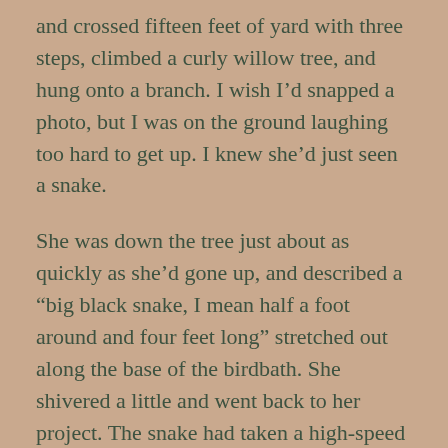and crossed fifteen feet of yard with three steps, climbed a curly willow tree, and hung onto a branch. I wish I'd snapped a photo, but I was on the ground laughing too hard to get up. I knew she'd just seen a snake.
She was down the tree just about as quickly as she'd gone up, and described a “big black snake, I mean half a foot around and four feet long” stretched out along the base of the birdbath. She shivered a little and went back to her project. The snake had taken a high-speed exit to the ravine and Cindy was happy. I was still laughing.